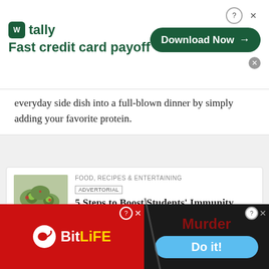[Figure (screenshot): Tally app advertisement banner: logo with 'Fast credit card payoff' tagline and 'Download Now' button]
everyday side dish into a full-blown dinner by simply adding your favorite protein.
[Figure (photo): Food photo showing appetizers or stuffed mushrooms on a plate]
FOOD, RECIPES & ENTERTAINING
ADVERTORIAL
5 Steps to Boost Students' Immunity
Updated 14 hrs ago
(Family Features) Heading to the classroom means opening doors to opportunities for educational and social growth, but to keep students at school day
[Figure (screenshot): BitLife game advertisement at bottom of screen with 'Murder' and 'Do it!' button]